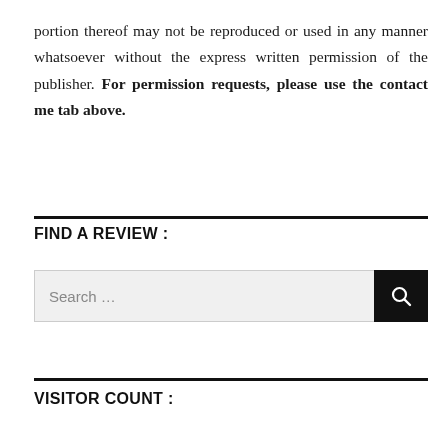portion thereof may not be reproduced or used in any manner whatsoever without the express written permission of the publisher. For permission requests, please use the contact me tab above.
FIND A REVIEW :
[Figure (other): Search input box with black search button icon]
VISITOR COUNT :